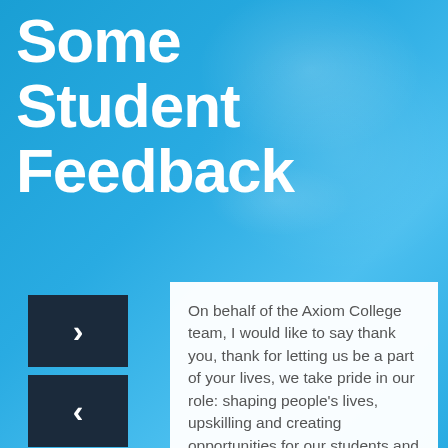Some Student Feedback
[Figure (other): Dark navy blue forward navigation arrow button (›)]
[Figure (other): Dark navy blue back navigation arrow button (‹)]
On behalf of the Axiom College team, I would like to say thank you, thank for letting us be a part of your lives, we take pride in our role: shaping people's lives, upskilling and creating opportunities for our students and we LOVE what we do. Read on to hear what our students, clients and parents have said about their